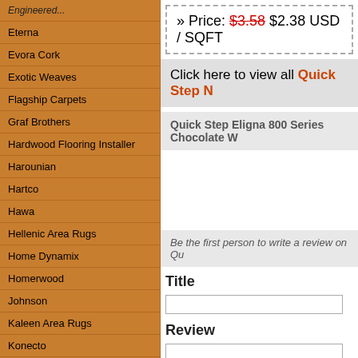Engineered...
Eterna
Evora Cork
Exotic Weaves
Flagship Carpets
Graf Brothers
Hardwood Flooring Installer
Harounian
Hartco
Hawa
Hellenic Area Rugs
Home Dynamix
Homerwood
Johnson
Kaleen Area Rugs
Konecto
KronoSwiss
Licante Marble Tile
LM Flooring
Loloi Rugs
Lyptus
Mannington Mills
Marazzi Tile
» Price: $3.58 $2.38 USD / SQFT
Click here to view all Quick Step N
Quick Step Eligna 800 Series Chocolate W
Be the first person to write a review on Qu
Title
Review